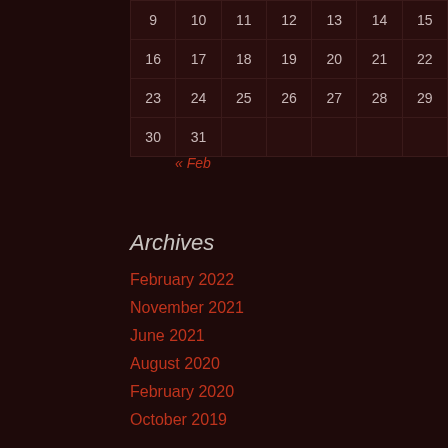| 9 | 10 | 11 | 12 | 13 | 14 | 15 |
| --- | --- | --- | --- | --- | --- | --- |
| 16 | 17 | 18 | 19 | 20 | 21 | 22 |
| 23 | 24 | 25 | 26 | 27 | 28 | 29 |
| 30 | 31 |  |  |  |  |  |
« Feb
Archives
February 2022
November 2021
June 2021
August 2020
February 2020
October 2019